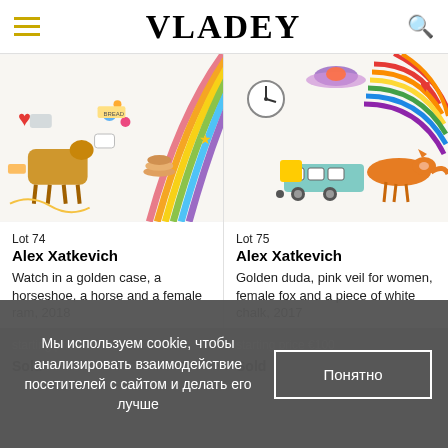VLADEY
[Figure (illustration): Colorful mixed media artwork - Lot 74, featuring a horse, heart, rainbow, food items, and various objects on white background]
Lot 74
Alex Xatkevich
Watch in a golden case, a horseshoe, a horse and a female ram, 2018
mixed media on paper, not framed
20,2 x 29,5 cm
[Figure (illustration): Colorful mixed media artwork - Lot 75, featuring a fox, train, UFO, rainbows, clock, and various objects on white background]
Lot 75
Alex Xatkevich
Golden duda, pink veil for women, female fox and a piece of white chalk, 2017
mixed media on paper, not framed
20,4 x 29 cm
starting price €100
Sold
starting price €100
Sold
Мы используем cookie, чтобы анализировать взаимодействие посетителей с сайтом и делать его лучше
Понятно